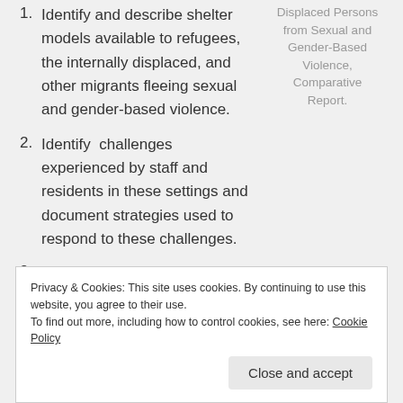1. Identify and describe shelter models available to refugees, the internally displaced, and other migrants fleeing sexual and gender-based violence.
Displaced Persons from Sexual and Gender-Based Violence, Comparative Report.
2. Identify challenges experienced by staff and residents in these settings and document strategies used to respond to these challenges.
3. Explore protection needs and options for
Privacy & Cookies: This site uses cookies. By continuing to use this website, you agree to their use.
To find out more, including how to control cookies, see here: Cookie Policy